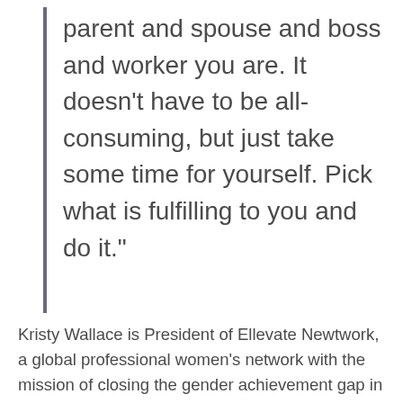parent and spouse and boss and worker you are. It doesn't have to be all-consuming, but just take some time for yourself. Pick what is fulfilling to you and do it."
Kristy Wallace is President of Ellevate Newtwork, a global professional women's network with the mission of closing the gender achievement gap in business. She also hosts the Ellevate Podcast, having "conversations with women changing the face of business." On this episode, Kristy shares